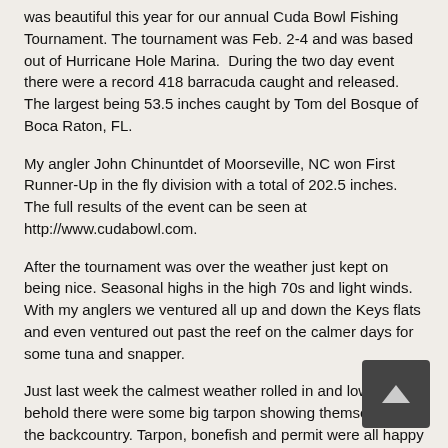was beautiful this year for our annual Cuda Bowl Fishing Tournament. The tournament was Feb. 2-4 and was based out of Hurricane Hole Marina.  During the two day event there were a record 418 barracuda caught and released. The largest being 53.5 inches caught by Tom del Bosque of Boca Raton, FL.
My angler John Chinuntdet of Moorseville, NC won First Runner-Up in the fly division with a total of 202.5 inches. The full results of the event can be seen at http://www.cudabowl.com.
After the tournament was over the weather just kept on being nice. Seasonal highs in the high 70s and light winds. With my anglers we ventured all up and down the Keys flats and even ventured out past the reef on the calmer days for some tuna and snapper.
Just last week the calmest weather rolled in and low and behold there were some big tarpon showing themselves in the backcountry. Tarpon, bonefish and permit were all happy and willing to eat a fly even! The large barracuda pictured in this article was caught on the flats and is one of the largest I've seen yet this year. This guy was a slob!